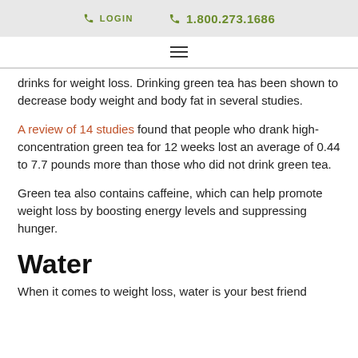LOGIN  1.800.273.1686
drinks for weight loss. Drinking green tea has been shown to decrease body weight and body fat in several studies.
A review of 14 studies found that people who drank high-concentration green tea for 12 weeks lost an average of 0.44 to 7.7 pounds more than those who did not drink green tea.
Green tea also contains caffeine, which can help promote weight loss by boosting energy levels and suppressing hunger.
Water
When it comes to weight loss, water is your best friend